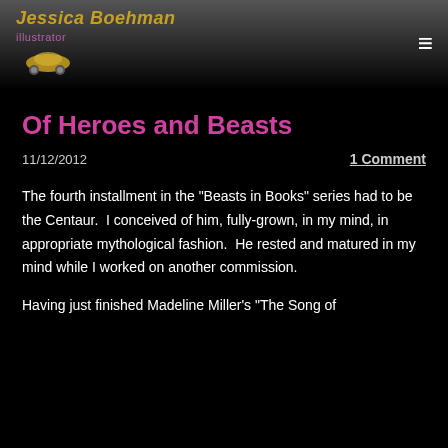Jessica Boehman
Of Heroes and Beasts
11/12/2012
1 Comment
The fourth installment in the "Beasts in Books" series had to be the Centaur.  I conceived of him, fully-grown, in my mind, in appropriate mythological fashion.  He rested and matured in my mind while I worked on another commission.
Having just finished Madeline Miller's "The Song of